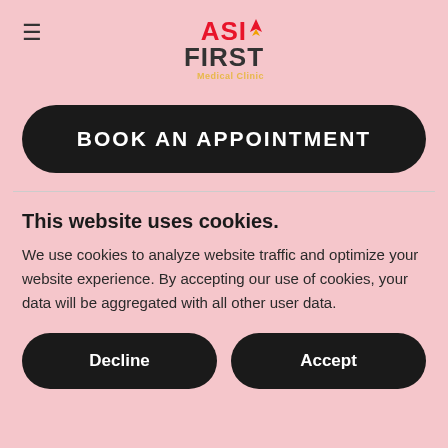[Figure (logo): Asia First Medical Clinic logo with red and dark text and flame icon, yellow subtitle]
BOOK AN APPOINTMENT
This website uses cookies.
We use cookies to analyze website traffic and optimize your website experience. By accepting our use of cookies, your data will be aggregated with all other user data.
Decline
Accept